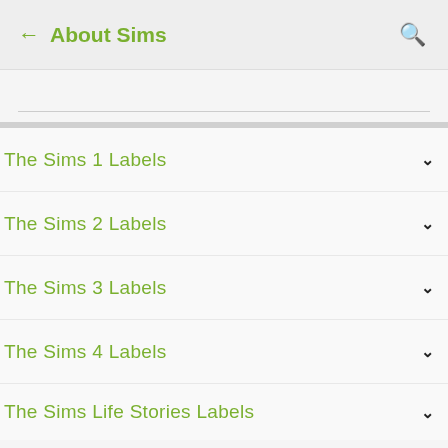← About Sims
The Sims 1 Labels
The Sims 2 Labels
The Sims 3 Labels
The Sims 4 Labels
The Sims Life Stories Labels